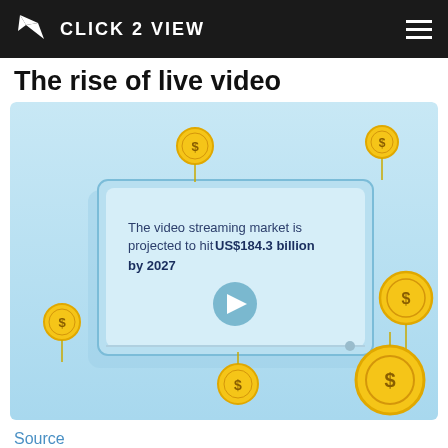CLICK 2 VIEW
The rise of live video
[Figure (infographic): Infographic showing a video player screen on a light blue background with floating gold coins. Text inside the screen reads: 'The video streaming market is projected to hit US$184.3 billion by 2027' with a play button icon. Multiple gold dollar-sign coins float around the screen at various sizes. A thin line extends below the screen representing a progress/timeline bar.]
Source